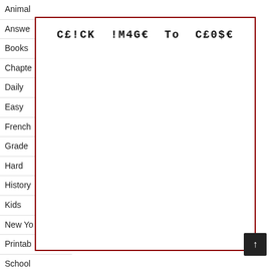Animal
Answe
Books
Chapte
Daily
Easy
French
Grade
Hard
History
Kids
New Yo
Printab
School
[Figure (screenshot): A modal/overlay dialog with a dark red border containing the text 'CE!CK !M4GE To CE0$E' in monospace font, overlaying a navigation list.]